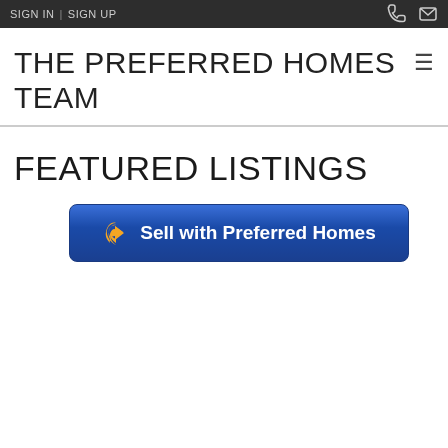SIGN IN | SIGN UP
THE PREFERRED HOMES TEAM
FEATURED LISTINGS
[Figure (screenshot): Blue call-to-action button with orange arrow icon and text 'Sell with Preferred Homes']